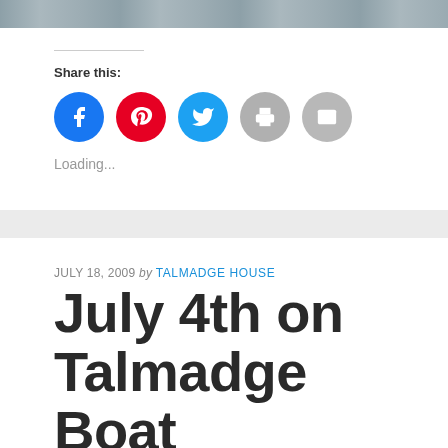[Figure (photo): Top image strip showing a partial photograph, likely a boat scene]
Share this:
[Figure (infographic): Social share buttons: Facebook (blue circle), Pinterest (red circle), Twitter (blue circle), Print (gray circle), Email (gray circle)]
Loading...
JULY 18, 2009 by TALMADGE HOUSE
July 4th on Talmadge Boat
BOATING, CIGAR, FAMILY & FRIENDS, HOLIDAY